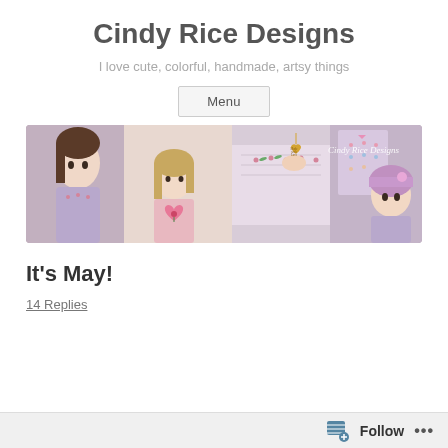Cindy Rice Designs
I love cute, colorful, handmade, artsy things
Menu
[Figure (photo): Banner image showing decorative dolls with handmade knitted and embroidered clothing in pastel colors (pink, lavender, gray), along with a gold heart charm. Text 'Cindy Rice Designs' appears in the upper right corner.]
It's May!
14 Replies
Follow ...